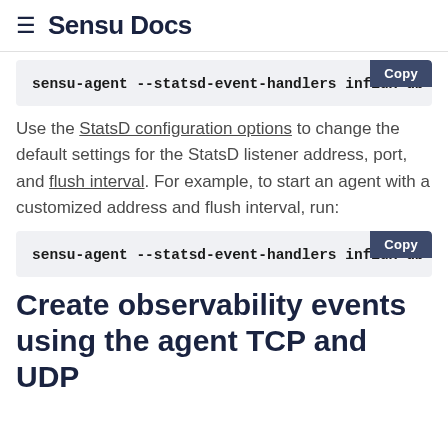≡ Sensu Docs
sensu-agent --statsd-event-handlers influx-db
Use the StatsD configuration options to change the default settings for the StatsD listener address, port, and flush interval. For example, to start an agent with a customized address and flush interval, run:
sensu-agent --statsd-event-handlers influx-db
Create observability events using the agent TCP and UDP